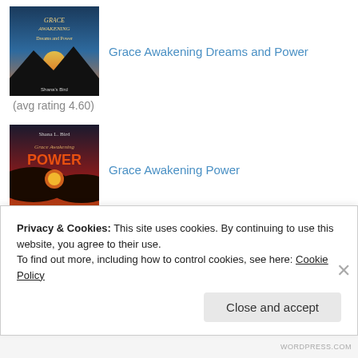[Figure (illustration): Book cover for Grace Awakening Dreams and Power]
Grace Awakening Dreams and Power
(avg rating 4.60)
[Figure (illustration): Book cover for Grace Awakening Power with orange/red sunset design]
Grace Awakening Power
(avg rating 4.75)
[Figure (illustration): Book cover for Grace Awakening Dreams with red/orange design]
Privacy & Cookies: This site uses cookies. By continuing to use this website, you agree to their use. To find out more, including how to control cookies, see here: Cookie Policy
Close and accept